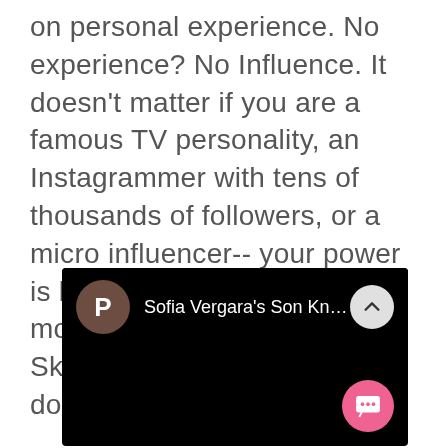on personal experience. No experience? No Influence. It doesn't matter if you are a famous TV personality, an Instagrammer with tens of thousands of followers, or a micro influencer-- your power is based on trust and the moment you start shilling Skinny Tea your influence is done.
[Figure (screenshot): Mobile app screenshot on black background showing a 'P' avatar in brown circle, text 'Sofia Vergara's Son Kn...' in white, an upward chevron button in light grey, and a pink chat bubble button in the bottom right corner.]